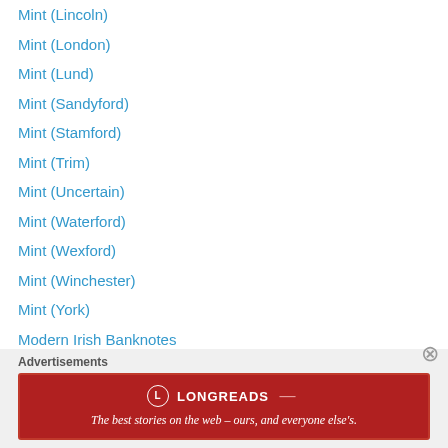Mint (Lincoln)
Mint (London)
Mint (Lund)
Mint (Sandyford)
Mint (Stamford)
Mint (Trim)
Mint (Uncertain)
Mint (Waterford)
Mint (Wexford)
Mint (Winchester)
Mint (York)
Modern Irish Banknotes
Monetary Crisis
Monetary Policy
Moneyer: ADA
Moneyer: ADAM
Moneyer: Aefeln
Advertisements
The best stories on the web – ours, and everyone else's.